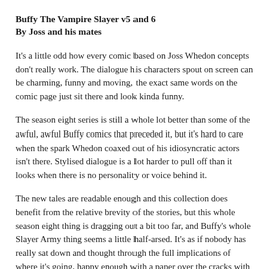Buffy The Vampire Slayer v5 and 6
By Joss and his mates
It's a little odd how every comic based on Joss Whedon concepts don't really work. The dialogue his characters spout on screen can be charming, funny and moving, the exact same words on the comic page just sit there and look kinda funny.
The season eight series is still a whole lot better than some of the awful, awful Buffy comics that preceded it, but it's hard to care when the spark Whedon coaxed out of his idiosyncratic actors isn't there. Stylised dialogue is a lot harder to pull off than it looks when there is no personality or voice behind it.
The new tales are readable enough and this collection does benefit from the relative brevity of the stories, but this whole season eight thing is dragging out a bit too far, and Buffy's whole Slayer Army thing seems a little half-arsed. It's as if nobody has really sat down and thought through the full implications of where it's going, happy enough with a paper over the cracks with idiosyncratic dialogue.
Capturing the exact likeliness of a particular actor is never easy and does put